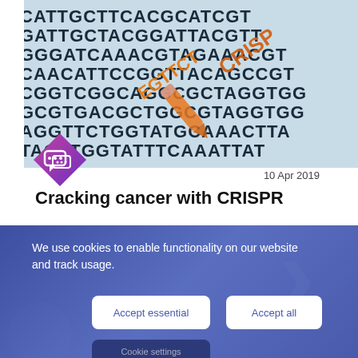[Figure (photo): Close-up photo of DNA sequence letters (G, C, A, T) printed on a light blue background, with orange CRISPR text and marker overlaid on top]
[Figure (logo): Diamond-shaped chat/comment icon with gradient purple-to-pink background and white speech bubble icons]
10 Apr 2019
Cracking cancer with CRISPR
We use cookies to enable functionality on our website and track usage.
Accept essential
Accept all
Cookie settings